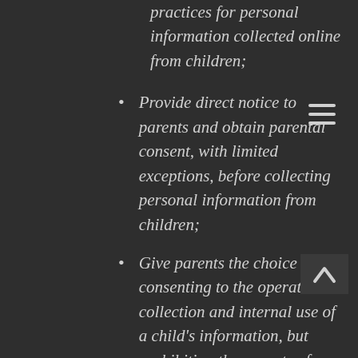practices for personal information collected online from children;
Provide direct notice to parents and obtain parental consent, with limited exceptions, before collecting personal information from children;
Give parents the choice of consenting to the operator’s collection and internal use of a child’s information, but prohibiting the operator from disclosing that information to third parties (unless disclosure is integral to the site or service, in which case, this must be made clear to parents);
Provide parents with access to their children’s information...